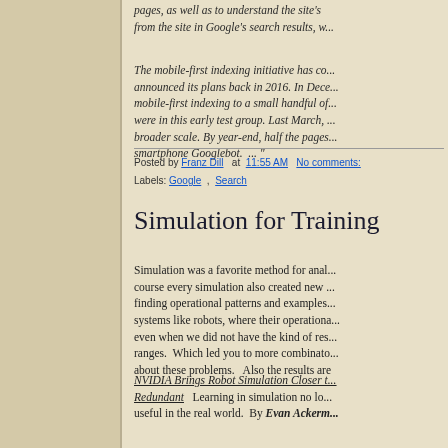pages, as well as to understand the site's pages from the site in Google's search results, w...
The mobile-first indexing initiative has co... announced its plans back in 2016. In Dece... mobile-first indexing to a small handful of... were in this early test group. Last March, ... broader scale. By year-end, half the pages... smartphone Googlebot.  ... "
Posted by Franz Dill  at  11:55 AM   No comments:
Labels: Google  ,  Search
Simulation for Training
Simulation was a favorite method for anal... course every simulation also created new ... finding operational patterns and examples... systems like robots, where their operationa... even when we did not have the kind of res... ranges.  Which led you to more combinato... about these problems.  Also the results are
NVIDIA Brings Robot Simulation Closer t... Redundant   Learning in simulation no lo... useful in the real world.  By Evan Ackerm...